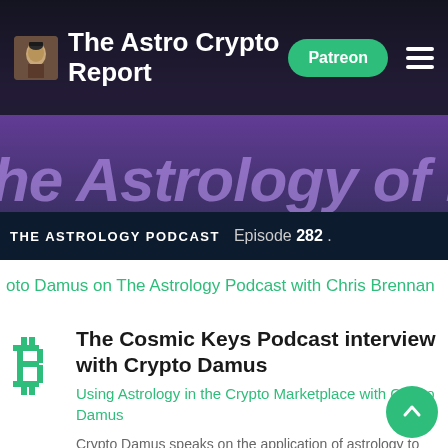The Astro Crypto Report
[Figure (screenshot): Hero banner image showing 'The Astrology of Bitcoin' text with podcast episode label 'THE ASTROLOGY PODCAST Episode 282']
oto Damus on The Astrology Podcast with Chris Brennan
The Cosmic Keys Podcast interview with Crypto Damus
Using Astrology in the Crypto Marketplace with Crypto Damus
Crypto Damus speaks on the application of astrology to decision making in the cryptocurrency marketplace. This is a fascinating chat where we